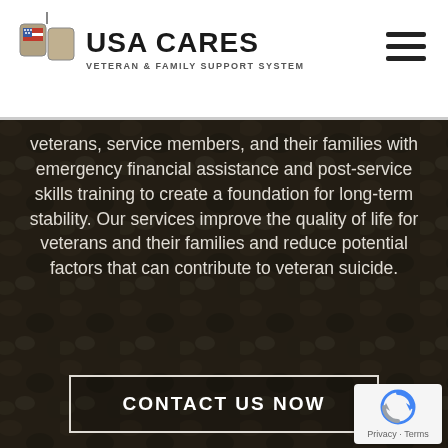USA CARES — VETERAN & FAMILY SUPPORT SYSTEM
[Figure (logo): USA Cares logo with dog tags icon bearing American flag, text 'USA CARES' in bold and 'VETERAN & FAMILY SUPPORT SYSTEM' subtitle]
[Figure (illustration): Hamburger/menu icon — three horizontal dark bars on white background]
[Figure (photo): Dark sepia/olive-toned background image of military camouflage gear and equipment, heavily darkened overlay]
veterans, service members, and their families with emergency financial assistance and post-service skills training to create a foundation for long-term stability. Our services improve the quality of life for veterans and their families and reduce potential factors that can contribute to veteran suicide.
CONTACT US NOW
[Figure (logo): Google reCAPTCHA badge with blue and grey arrow/refresh icon, 'Privacy - Terms' text below]